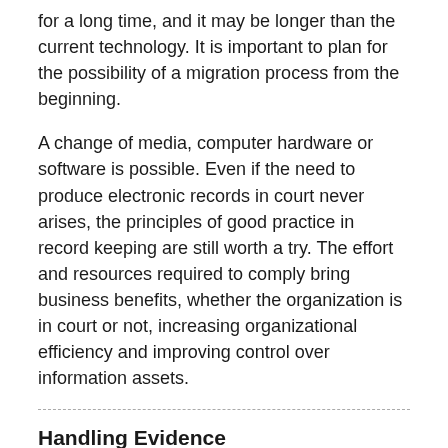for a long time, and it may be longer than the current technology. It is important to plan for the possibility of a migration process from the beginning.
A change of media, computer hardware or software is possible. Even if the need to produce electronic records in court never arises, the principles of good practice in record keeping are still worth a try. The effort and resources required to comply bring business benefits, whether the organization is in court or not, increasing organizational efficiency and improving control over information assets.
Handling Evidence
The need to handle the original evidence is being reduced by the digitising of evidence. The